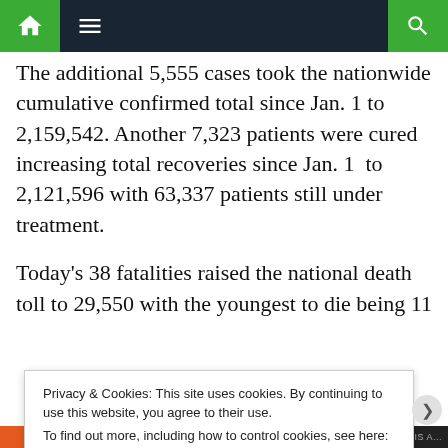Navigation bar with home, menu, and search icons
The additional 5,555 cases took the nationwide cumulative confirmed total since Jan. 1 to 2,159,542. Another 7,323 patients were cured increasing total recoveries since Jan. 1 to 2,121,596 with 63,337 patients still under treatment.
Today's 38 fatalities raised the national death toll to 29,550 with the youngest to die being 11
Privacy & Cookies: This site uses cookies. By continuing to use this website, you agree to their use.
To find out more, including how to control cookies, see here:
Cookie Policy

Close and accept